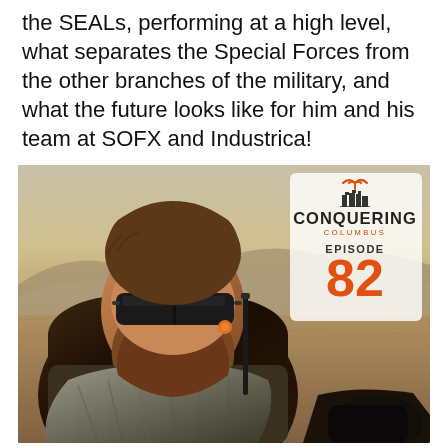the SEALs, performing at a high level, what separates the Special Forces from the other branches of the military, and what the future looks like for him and his team at SOFX and Industrica!
[Figure (photo): Photograph of a bearded man with sunglasses and an orange earplug, wearing military camouflage and a dark scarf/shemagh, outdoors in a desert/arid environment. An antenna is visible. In the upper-right corner of the photo is the Conquering Columbus podcast logo with 'EPISODE 82' in orange text.]